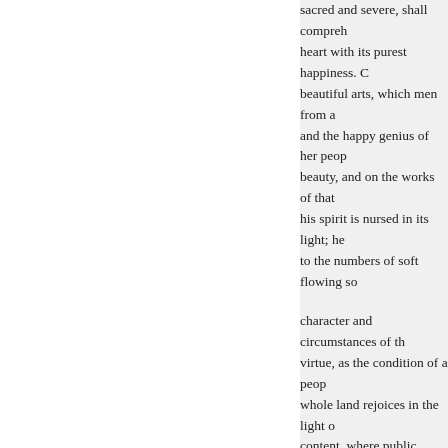sacred and severe, shall comprehend heart with its purest happiness. C beautiful arts, which men from a and the happy genius of her peop beauty, and on the works of that his spirit is nursed in its light; he to the numbers of soft flowing so
character and circumstances of th virtue, as the condition of a peop whole land rejoices in the light o content, where public justice in t high, and natural sympathy are s with more satisfaction on that na patriotism; because we perceive we foresee that no difficult or co bestowed in maintaining its right every country, whatever its cond but that dissoluteness of vice, un foreign dominion, which may ex been called the "sorrow of pride the heart of a nation, dies patriot
II.